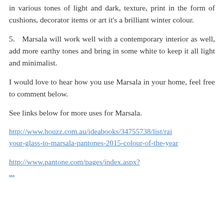in various tones of light and dark, texture, print in the form of cushions, decorator items or art it's a brilliant winter colour.
5.   Marsala will work well with a contemporary interior as well, add more earthy tones and bring in some white to keep it all light and minimalist.
I would love to hear how you use Marsala in your home, feel free to comment below.
See links below for more uses for Marsala.
http://www.houzz.com.au/ideabooks/34755738/list/raise-your-glass-to-marsala-pantones-2015-colour-of-the-year
http://www.pantone.com/pages/index.aspx?...